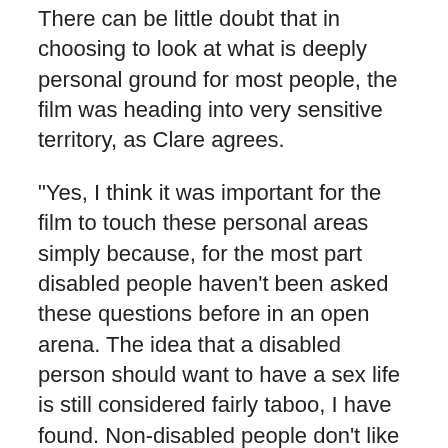There can be little doubt that in choosing to look at what is deeply personal ground for most people, the film was heading into very sensitive territory, as Clare agrees.
"Yes, I think it was important for the film to touch these personal areas simply because, for the most part disabled people haven't been asked these questions before in an open arena. The idea that a disabled person should want to have a sex life is still considered fairly taboo, I have found. Non-disabled people don't like to think about it, or at least they aren't confronted by it as an issue because it's easier for non-disabled people to go to bars, get drunk and cop off even if they find it hard to form lasting relationships. It's just not as easy for someone who has a disability to think ‘right, I fancy a shag I'll go and get laid',